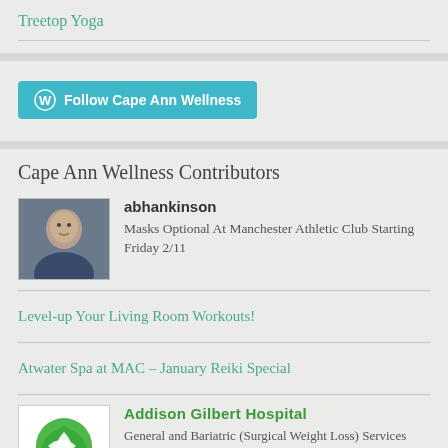Treetop Yoga
[Figure (other): Follow Cape Ann Wellness WordPress follow button in teal/cyan color]
Cape Ann Wellness Contributors
[Figure (photo): Profile photo of abhankinson, a man smiling]
abhankinson
Masks Optional At Manchester Athletic Club Starting Friday 2/11
Level-up Your Living Room Workouts!
Atwater Spa at MAC – January Reiki Special
[Figure (logo): Addison Gilbert Hospital green logo with stylized cross/leaf icon]
Addison Gilbert Hospital
General and Bariatric (Surgical Weight Loss) Services Offered At Addison Gilbert Hospital With Dr Reuben Shin MD
Addison Gilbert Hospital Living Event, October 24th